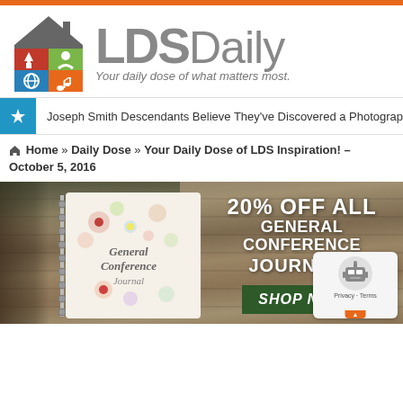[Figure (logo): LDS Daily logo with colorful 2x2 icon grid under a house roof and tagline 'Your daily dose of what matters most.']
Joseph Smith Descendants Believe They've Discovered a Photograp
Home » Daily Dose » Your Daily Dose of LDS Inspiration! – October 5, 2016
[Figure (photo): Advertisement banner: General Conference journal on wooden background with flowers, text '20% OFF ALL GENERAL CONFERENCE JOURNALS' and 'SHOP NOW' button]